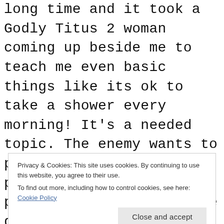long time and it took a Godly Titus 2 woman coming up beside me to teach me even basic things like its ok to take a shower every morning! It's a needed topic. The enemy wants to push us off the narrow path,and he's content to push us too far (into the gutter) in either direction to either to being legalistic, fearful and thinking anything we do for ourself is selfishness and living under condemnation o a f f
Privacy & Cookies: This site uses cookies. By continuing to use this website, you agree to their use. To find out more, including how to control cookies, see here: Cookie Policy